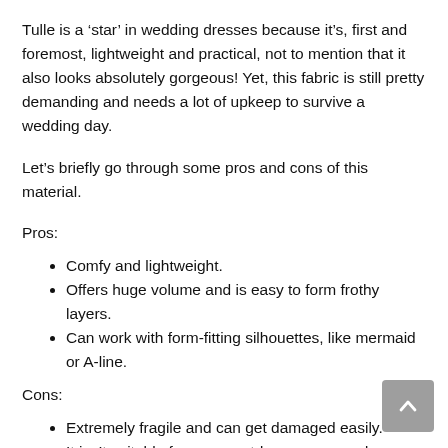Tulle is a 'star' in wedding dresses because it's, first and foremost, lightweight and practical, not to mention that it also looks absolutely gorgeous! Yet, this fabric is still pretty demanding and needs a lot of upkeep to survive a wedding day.
Let's briefly go through some pros and cons of this material.
Pros:
Comfy and lightweight.
Offers huge volume and is easy to form frothy layers.
Can work with form-fitting silhouettes, like mermaid or A-line.
Cons:
Extremely fragile and can get damaged easily.
It isn't suitable for some outdoor or cramped